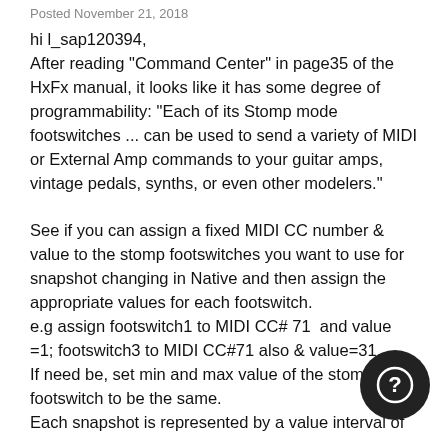Posted November 21, 2018
hi l_sap120394,
After reading "Command Center" in page35 of the HxFx manual, it looks like it has some degree of programmability: "Each of its Stomp mode footswitches ... can be used to send a variety of MIDI or External Amp commands to your guitar amps, vintage pedals, synths, or even other modelers."

See if you can assign a fixed MIDI CC number & value to the stomp footswitches you want to use for snapshot changing in Native and then assign the appropriate values for each footswitch.
e.g assign footswitch1 to MIDI CC# 71  and value =1; footswitch3 to MIDI CC#71 also & value=31.
If need be, set min and max value of the stomp footswitch to be the same.
Each snapshot is represented by a value interval of

If it works, footswitch1 will select snapshot1 and